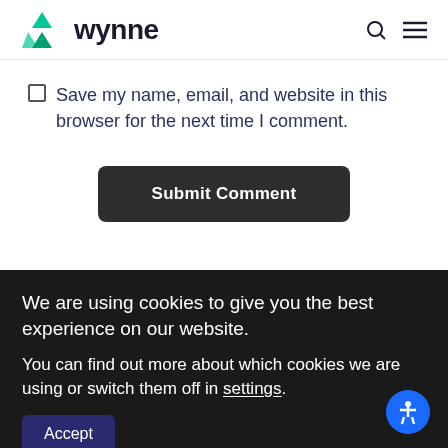[Figure (logo): Wynne logo with green geometric triangles and bold dark text 'wynne']
Save my name, email, and website in this browser for the next time I comment.
Submit Comment
We are using cookies to give you the best experience on our website.
You can find out more about which cookies we are using or switch them off in settings.
Accept